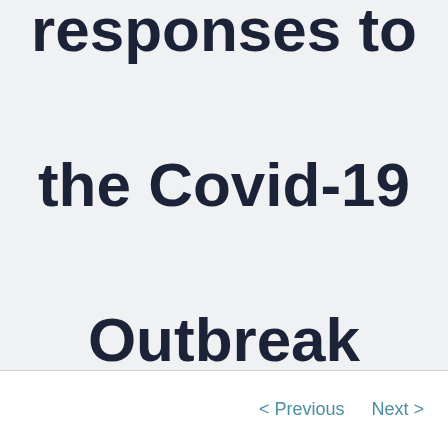responses to the Covid-19 Outbreak
< Previous   Next >